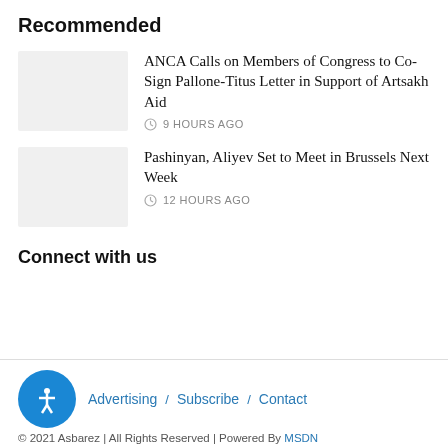Recommended
ANCA Calls on Members of Congress to Co-Sign Pallone-Titus Letter in Support of Artsakh Aid
9 HOURS AGO
Pashinyan, Aliyev Set to Meet in Brussels Next Week
12 HOURS AGO
Connect with us
Advertising / Subscribe / Contact
© 2021 Asbarez | All Rights Reserved | Powered By MSDN